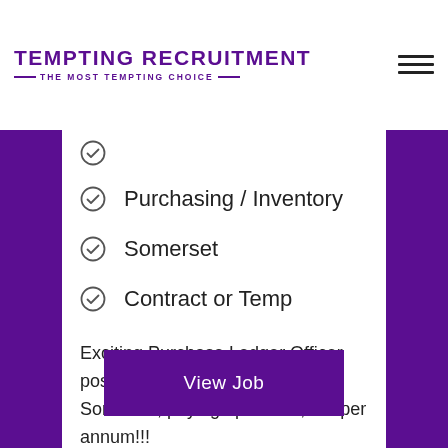TEMPTING RECRUITMENT — THE MOST TEMPTING CHOICE —
Purchasing / Inventory
Somerset
Contract or Temp
Exciting Purchase Ledger Officer position with our client based in Somerset, paying up to £25,871 per annum!!!
View Job